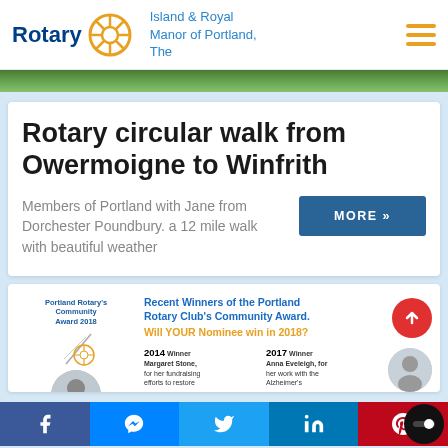Rotary — Island & Royal Manor of Portland, The
[Figure (photo): Green outdoor/nature photo strip]
Rotary circular walk from Owermoigne to Winfrith
Members of Portland with Jane from Dorchester Poundbury. a 12 mile walk with beautiful weather
[Figure (infographic): Recent Winners of the Portland Rotary Club's Community Award. Will YOUR Nominee win in 2018? 2014 Winner Margaret Stone, for her fundraising efforts to restore... 2017 Winner Anna Eveleigh, for her work with the Alzheimer's...]
Facebook | Messenger | Twitter | LinkedIn | Pinterest